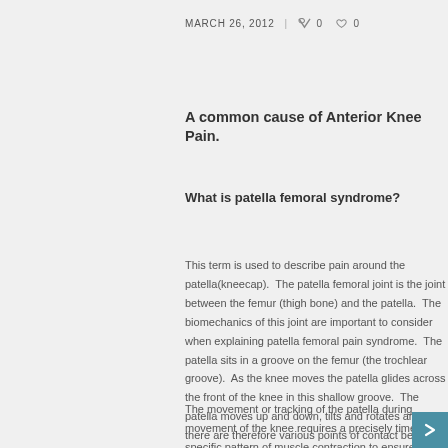MARCH 26, 2012  |  0  0
A common cause of Anterior Knee Pain.
What is patella femoral syndrome?
This term is used to describe pain around the patella(kneecap).  The patella femoral joint is the joint between the femur (thigh bone) and the patella.  The biomechanics of this joint are important to consider when explaining patella femoral pain syndrome.  The patella sits in a groove on the femur (the trochlear groove).  As the knee moves the patella glides across the front of the knee in this shallow groove.  The patella moves up and down, tilts and rotates and there are therefore various points of contact between the patella and the femur.
The movement or tracking of the patella during movement of the knee requires a precisely timed, specific pattern of muscle contraction to ensure